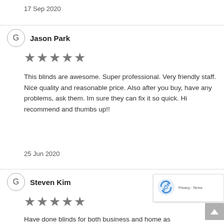17 Sep 2020
Jason Park
★★★★★
This blinds are awesome. Super professional. Very friendly staff. Nice quality and reasonable price. Also after you buy, have any problems, ask them. Im sure they can fix it so quick. Hi recommend and thumbs up!!
25 Jun 2020
Steven Kim
★★★★★
Have done blinds for both business and home as